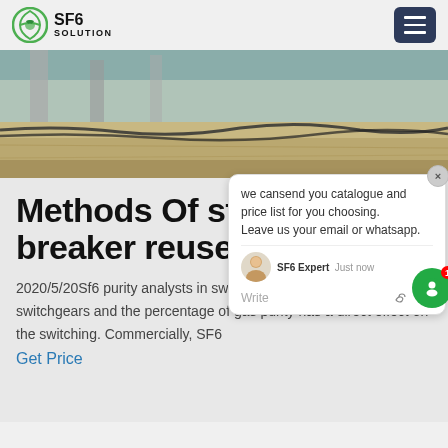SF6 SOLUTION
[Figure (photo): Construction or industrial site ground-level photo showing sandy/dirt ground with cables and infrastructure elements, partial view of columns or supports in background]
Methods Of sf6 circuit breaker reuse ene…
2020/5/20Sf6 purity analysts in swit… gas plays a key role in switchgears and the percentage of gas purity has a direct effect on the switching. Commercially, SF6
Get Price